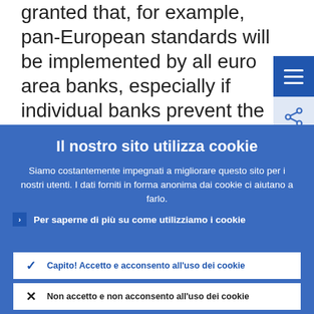granted that, for example, pan-European standards will be implemented by all euro area banks, especially if individual banks prevent the euro area from benefiting from necessary investments purely out of self-
Il nostro sito utilizza cookie
Siamo costantemente impegnati a migliorare questo sito per i nostri utenti. I dati forniti in forma anonima dai cookie ci aiutano a farlo.
Per saperne di più su come utilizziamo i cookie
Capito! Accetto e acconsento all'uso dei cookie
Non accetto e non acconsento all'uso dei cookie